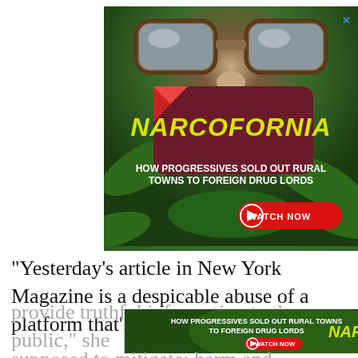[Figure (screenshot): Advertisement banner for 'Narcofornia' documentary. Dark background showing a person wearing glasses with cannabis leaves. Yellow bold italic text 'NARCOFORNIA' on maroon card. White subtitle text 'HOW PROGRESSIVES SOLD OUT RURAL TOWNS TO FOREIGN DRUG LORDS'. Red 'WATCH NOW' button with play icon.]
“Yesterday’s article in New York Magazine is a despicable abuse of a platform that’s intended to provide truthful information to the public,” she said T... supposed to mitigate: harm and misinformation...
[Figure (screenshot): Second smaller advertisement banner for Narcofornia at the bottom. Shows 'HOW PROGRESSIVES SOLD OUT RURAL TOWNS TO FOREIGN DRUG LORDS' text with WATCH NOW button and Narcofornia logo on cannabis background.]